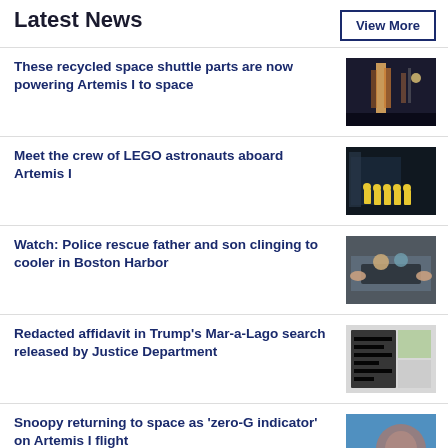Latest News
View More
These recycled space shuttle parts are now powering Artemis I to space
[Figure (photo): Night launch photo of Artemis I rocket on launch pad]
Meet the crew of LEGO astronauts aboard Artemis I
[Figure (photo): LEGO astronaut figures in front of rocket structure at night]
Watch: Police rescue father and son clinging to cooler in Boston Harbor
[Figure (photo): Aerial view of people in water clinging to a cooler]
Redacted affidavit in Trump's Mar-a-Lago search released by Justice Department
[Figure (photo): Blurred/redacted document image]
Snoopy returning to space as 'zero-G indicator' on Artemis I flight
[Figure (photo): Blurred photo with orange/red shape on blue background]